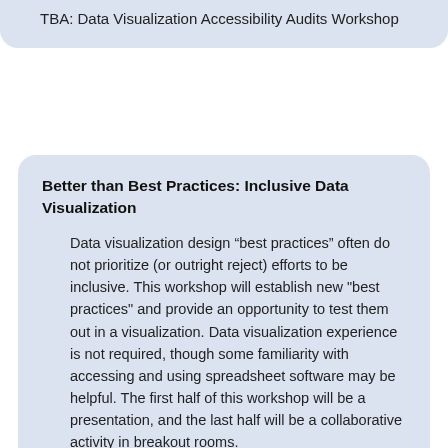TBA: Data Visualization Accessibility Audits Workshop
Better than Best Practices: Inclusive Data Visualization
Data visualization design “best practices” often do not prioritize (or outright reject) efforts to be inclusive. This workshop will establish new "best practices" and provide an opportunity to test them out in a visualization. Data visualization experience is not required, though some familiarity with accessing and using spreadsheet software may be helpful. The first half of this workshop will be a presentation, and the last half will be a collaborative activity in breakout rooms.
Next Session: TBA